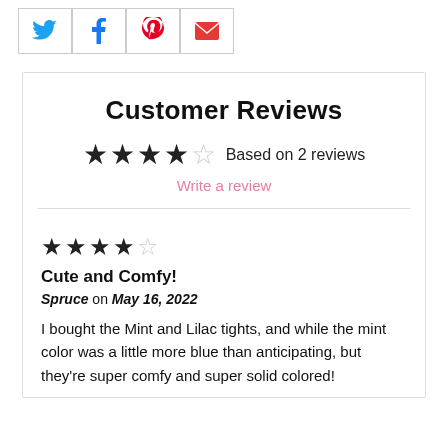[Figure (other): Social sharing icons: Twitter (blue bird), Facebook (blue f), Pinterest (red P), Email (red envelope)]
Customer Reviews
★★★½☆ Based on 2 reviews
Write a review
★★★★☆
Cute and Comfy!
Spruce on May 16, 2022
I bought the Mint and Lilac tights, and while the mint color was a little more blue than anticipating, but they're super comfy and super solid colored!